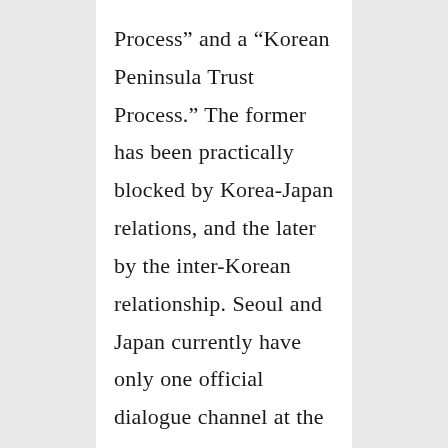Process” and a “Korean Peninsula Trust Process.” The former has been practically blocked by Korea-Japan relations, and the later by the inter-Korean relationship. Seoul and Japan currently have only one official dialogue channel at the director-general level. There has been no progress with Pyongyang. Nevertheless, a